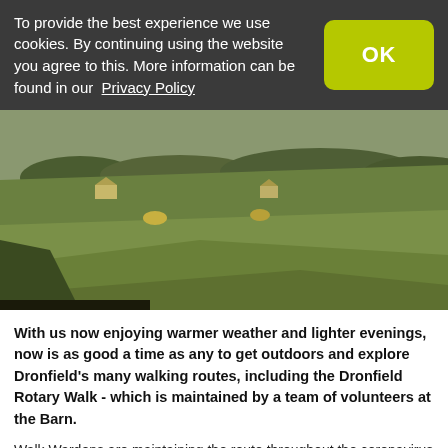To provide the best experience we use cookies. By continuing using the website you agree to this. More information can be found in our  Privacy Policy
[Figure (photo): Aerial or elevated view of a green rolling countryside field with hedgerows and farm buildings in the background, trees lining the horizon under an overcast sky.]
With us now enjoying warmer weather and lighter evenings, now is as good a time as any to get outdoors and explore Dronfield's many walking routes, including the Dronfield Rotary Walk - which is maintained by a team of volunteers at the Barn.
Walk Wardens are maintaining the route throughout the coronavirus period: they are classed as doing essential maintenance of a local outdoor asset. Bigger jobs have been taken on by our own Work Party. In February they completed a superb flight of steps near